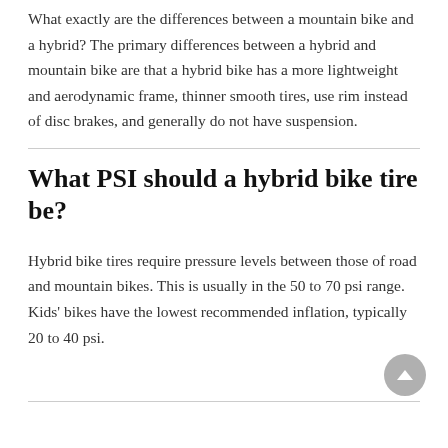What exactly are the differences between a mountain bike and a hybrid? The primary differences between a hybrid and mountain bike are that a hybrid bike has a more lightweight and aerodynamic frame, thinner smooth tires, use rim instead of disc brakes, and generally do not have suspension.
What PSI should a hybrid bike tire be?
Hybrid bike tires require pressure levels between those of road and mountain bikes. This is usually in the 50 to 70 psi range. Kids' bikes have the lowest recommended inflation, typically 20 to 40 psi.